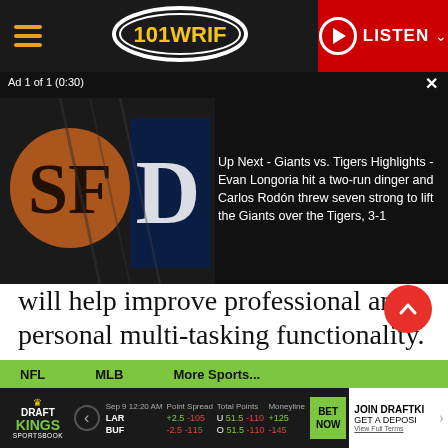[Figure (screenshot): 101 WRIF radio station website header with hamburger menu, 101WRIF logo oval, and red LISTEN button]
[Figure (screenshot): Ad overlay showing Giants vs Tigers logos on dark background. Text: 'Ad 1 of 1 (0:30)' and 'Up Next - Giants vs. Tigers Highlights - Evan Longoria hit a two-run dinger and Carlos Rodón threw seven strong to lift the Giants over the Tigers, 3-1']
will help improve professional and personal multi-tasking functionality. This will allow for using overlapping windows for the first time ever in iPad.
[Figure (screenshot): Red circular scroll-to-top button with upward chevron]
Human Interest  ManCave
NFL   MLB   More Sports...
[Figure (screenshot): DraftKings Sportsbook betting bar showing LAR vs BUF game: Sep 9 12:20 AM, Point Spread LAR +2.5 -105 / BUF -2.5 -115, Total Points U 51.5 -110 / O 51.5 -110, Moneyline +125 / -145, BET NOW button, JOIN DRAFTKINGS GET A DEPOSIT offer]